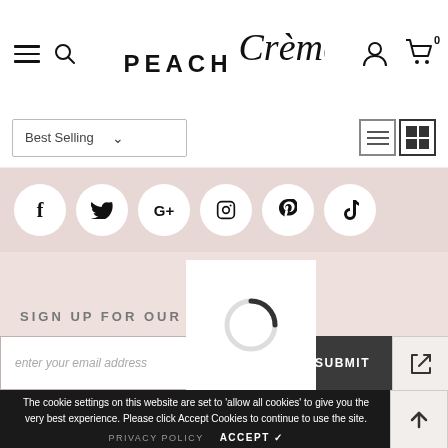[Figure (screenshot): Website header with hamburger menu, search icon, PEACH Crème logo, user icon, and cart icon with 0]
[Figure (screenshot): Sort bar with 'Best Selling' dropdown and grid/list view toggle icons]
[Figure (screenshot): Social media icons row: Facebook, Twitter, Google+, Instagram, Pinterest, TikTok on dusty rose background]
SIGN UP FOR OUR NEWSLETTER
enter your email address
SUBMIT
The cookie settings on this website are set to 'allow all cookies' to give you the very best experience. Please click Accept Cookies to continue to use the site.
PRIVACY POLICY   ACCEPT ✓